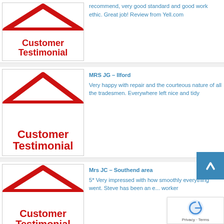[Figure (logo): Customer Testimonial logo with red roof and red bold text]
recommend, very good standard and good work ethic. Great job! Review from Yell.com
[Figure (logo): Customer Testimonial logo with red roof and red bold text]
MRS JG – Ilford
Very happy with repair and the courteous nature of all the tradesmen. Everywhere left nice and tidy
[Figure (logo): Customer Testimonial logo with red roof and red bold text]
Mrs JC – Southend area
5* Very impressed with how smoothly everything went. Steve has been an excellent worker